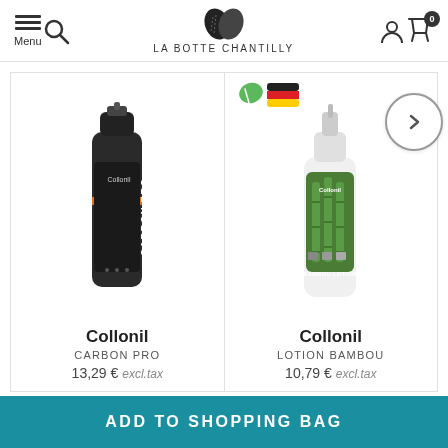LA BOTTE CHANTILLY — Menu, Search, Account, Cart
[Figure (photo): Collonil Carbon Pro spray can product image]
Collonil
CARBON PRO
13,29 € excl.tax
[Figure (photo): Collonil Lotion Bambou spray bottle product image with eco leaf and German flag badges]
Collonil
LOTION BAMBOU
10,79 € excl.tax
ADD TO SHOPPING BAG